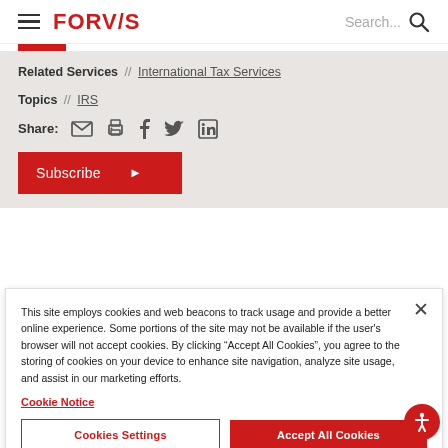FORVIS | Search...
Related Services // International Tax Services
Topics // IRS
Share: [email] [print] [facebook] [twitter] [linkedin]
Subscribe ▶
This site employs cookies and web beacons to track usage and provide a better online experience. Some portions of the site may not be available if the user's browser will not accept cookies. By clicking "Accept All Cookies", you agree to the storing of cookies on your device to enhance site navigation, analyze site usage, and assist in our marketing efforts.
Cookie Notice
Cookies Settings | Accept All Cookies